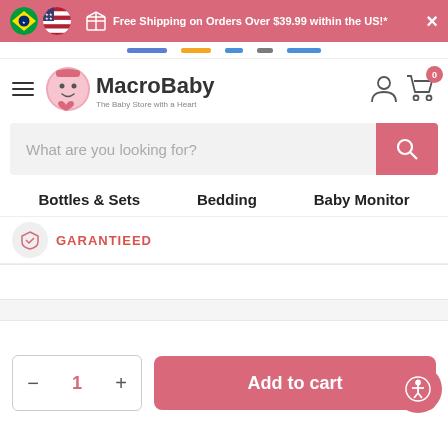Free Shipping on Orders Over $39.99 within the US!*
[Figure (logo): MacroBaby - The Baby Store with a Heart logo]
What are you looking for?
Bottles & Sets
Bedding
Baby Monitor
GARANTIEED
1
Add to cart